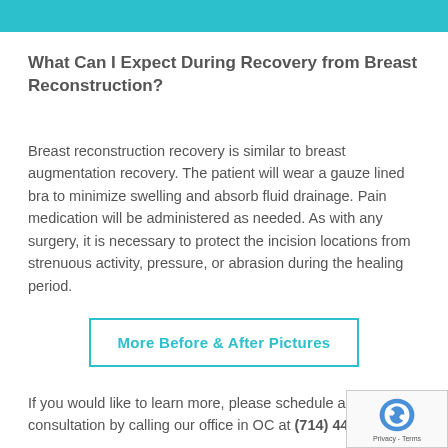What Can I Expect During Recovery from Breast Reconstruction?
Breast reconstruction recovery is similar to breast augmentation recovery. The patient will wear a gauze lined bra to minimize swelling and absorb fluid drainage. Pain medication will be administered as needed. As with any surgery, it is necessary to protect the incision locations from strenuous activity, pressure, or abrasion during the healing period.
More Before & After Pictures
If you would like to learn more, please schedule a free consultation by calling our office in OC at (714) 444-